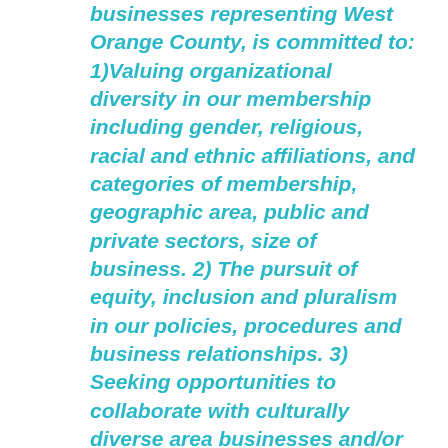businesses representing West Orange County, is committed to: 1)Valuing organizational diversity in our membership including gender, religious, racial and ethnic affiliations, and categories of membership, geographic area, public and private sectors, size of business. 2) The pursuit of equity, inclusion and pluralism in our policies, procedures and business relationships. 3) Seeking opportunities to collaborate with culturally diverse area businesses and/or organizations."
For over 25 years, Agostina “Stina” D’Uva has been an integral leader in the Orlando community. As the President/CEO, her direction has helped grow The West Orange Chamber of Commerce into the driving force of business that it is today. Under her leadership, the Chamber earned the coveted Chamber of the Year award from the Florida Association of